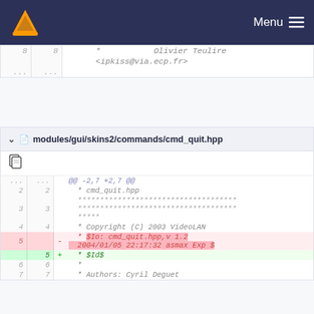Menu
[Figure (screenshot): VLC media player website navigation bar with VLC cone logo on the left and Menu button on the right, dark navy background]
8   8       *           Olivier Teulire <ipkiss@via.ecp.fr>
...  ...
modules/gui/skins2/commands/cmd_quit.hpp
| old | new | sign | code |
| --- | --- | --- | --- |
| ... | ... |  | @@ -2,7 +2,7 @@ |
| 2 | 2 |  |   * cmd_quit.hpp |
| 3 | 3 |  |   **********************************************
  ***** |
| 4 | 4 |  |   * Copyright (C) 2003 VideoLAN |
| 5 |  | - |   * $Io: cmd_quit.hpp,v 1.2 2004/01/05 22:17:32 asmax Exp $ |
|  | 5 | + |   * $Id$ |
| 6 | 6 |  |   * |
| 7 | 7 |  |   * Authors: Cyril Deguet |